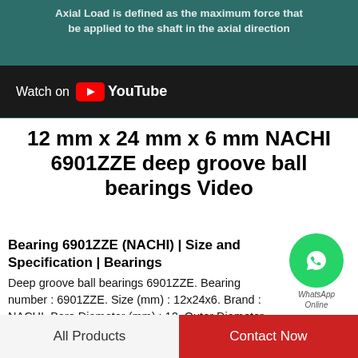[Figure (screenshot): YouTube video thumbnail showing teal/green background with text about axial load definition and a 'Watch on YouTube' bar]
12 mm x 24 mm x 6 mm NACHI 6901ZZE deep groove ball bearings Video
[Figure (logo): WhatsApp green circle logo with phone icon and 'WhatsApp Online' label]
Bearing 6901ZZE (NACHI) | Size and Specification | Bearings
Deep groove ball bearings 6901ZZE. Bearing number : 6901ZZE. Size (mm) : 12x24x6. Brand : NACHI. Bore Diameter (mm) : 12. Outer Diameter (mm) : 24
NACHI 6901ZZE Deep Groove Ball Bearings 12x24x6mm
Jul 23, 2019 · Buy NACHI 6901ZZE Deep Groove Ball
All Products   Contact Now